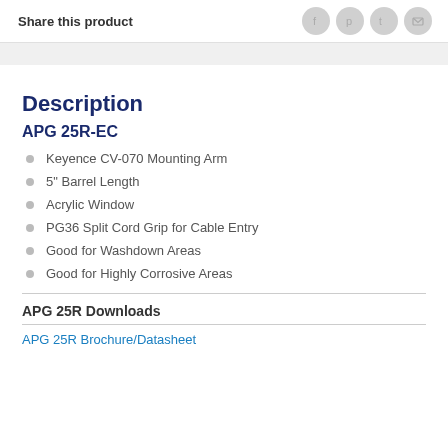Share this product
Description
APG 25R-EC
Keyence CV-070 Mounting Arm
5" Barrel Length
Acrylic Window
PG36 Split Cord Grip for Cable Entry
Good for Washdown Areas
Good for Highly Corrosive Areas
APG 25R Downloads
APG 25R Brochure/Datasheet